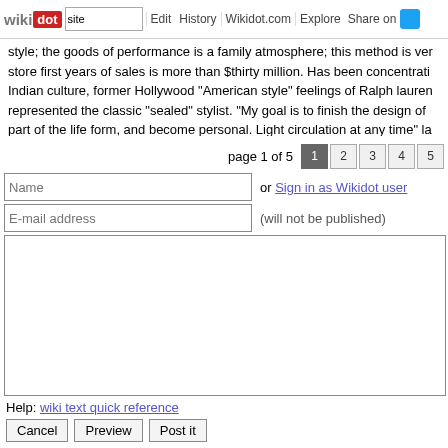wikidot | site | Edit | History | Wikidot.com | Explore | Share on
style; the goods of performance is a family atmosphere; this method is ver store first years of sales is more than $thirty million. Has been concentrati Indian culture, former Hollywood "American style" feelings of Ralph lauren represented the classic "sealed" stylist. "My goal is to finish the design of part of the life form, and become personal. Light circulation at any time" la
page 1 of 5  1  2  3  4  5
Name | or Sign in as Wikidot user
E-mail address | (will not be published)
Help: wiki text quick reference
Cancel  Preview  Post it
page revisio
Edit  Rate (0)  Tags  Histo